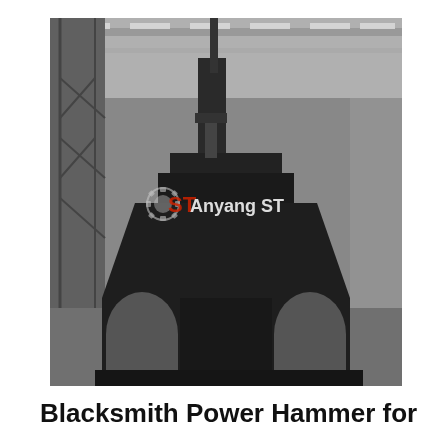[Figure (photo): Large industrial black-and-white photograph of a blacksmith power hammer machine inside a factory warehouse with steel framework ceiling. The machine has a large arch-shaped base with two arched openings at the bottom. An Anyang ST watermark/logo is overlaid on the image. In the upper-right corner, a side panel shows '24/7 Online' text, a photo of a female customer service representative wearing a headset, text 'Click here for free chat!', and an orange QUOTATION button. A 'TOP' badge with orange splatter appears in the lower right.]
Blacksmith Power Hammer for